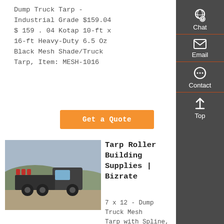Dump Truck Tarp - Industrial Grade $159.04 $ 159 . 04 Kotap 10-ft x 16-ft Heavy-Duty 6.5 Oz Black Mesh Shade/Truck Tarp, Item: MESH-1016
Get a Quote
[Figure (photo): A large dump truck or heavy-duty truck photographed outdoors with hills in background]
Tarp Roller Building Supplies | Bizrate
7 x 12 - Dump Truck Mesh Tarp with Spline, Fits Most of Electric or